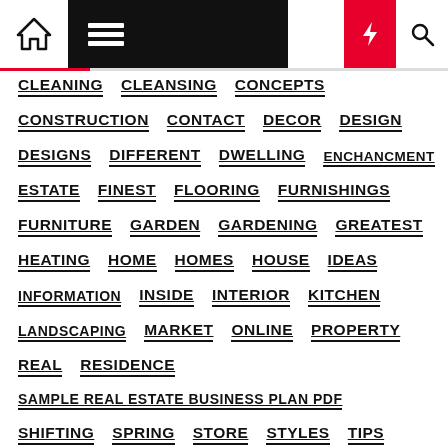Navigation menu with home, hamburger, dark mode, lightning, and search icons
CLEANING
CLEANSING
CONCEPTS
CONSTRUCTION
CONTACT
DECOR
DESIGN
DESIGNS
DIFFERENT
DWELLING
ENCHANCMENT
ESTATE
FINEST
FLOORING
FURNISHINGS
FURNITURE
GARDEN
GARDENING
GREATEST
HEATING
HOME
HOMES
HOUSE
IDEAS
INFORMATION
INSIDE
INTERIOR
KITCHEN
LANDSCAPING
MARKET
ONLINE
PROPERTY
REAL
RESIDENCE
SAMPLE REAL ESTATE BUSINESS PLAN PDF
SHIFTING
SPRING
STORE
STYLES
TIPS
WINDOWS